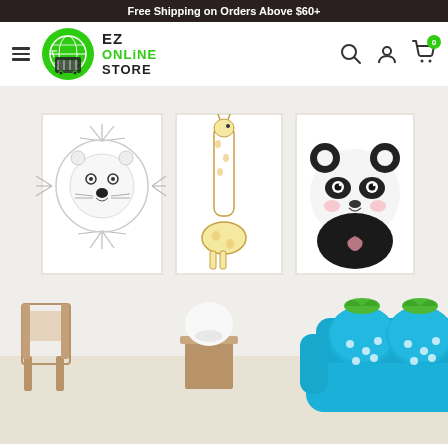Free Shipping on Orders Above $60+
[Figure (logo): EZ Online Store logo with globe and shopping cart icon, green and black colors]
[Figure (photo): Children's room scene with three animal wall art prints (lion, giraffe, panda) and a blue strawberry-shaped sofa with plush pillows]